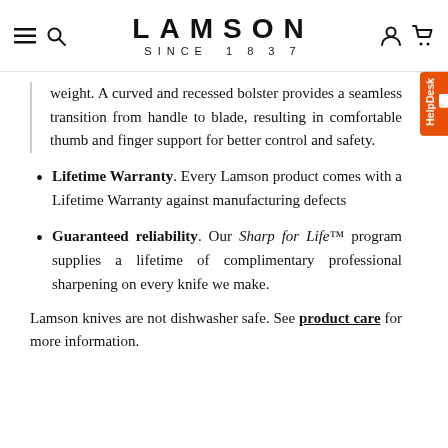LAMSON SINCE 1837
weight. A curved and recessed bolster provides a seamless transition from handle to blade, resulting in comfortable thumb and finger support for better control and safety.
Lifetime Warranty. Every Lamson product comes with a Lifetime Warranty against manufacturing defects
Guaranteed reliability. Our Sharp for Life™ program supplies a lifetime of complimentary professional sharpening on every knife we make.
Lamson knives are not dishwasher safe. See product care for more information.